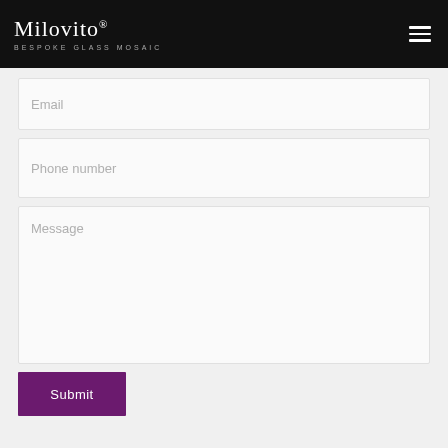Milovito® BESPOKE GLASS MOSAIC
Email
Phone number
Message
Submit